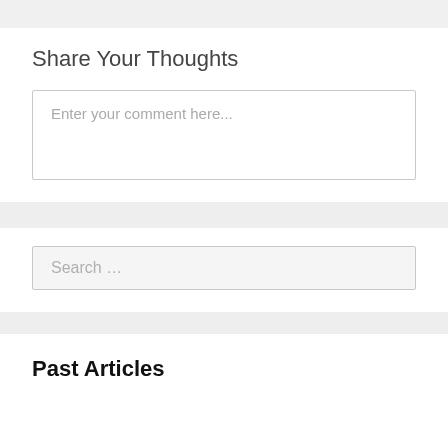Share Your Thoughts
Enter your comment here...
Search ...
Past Articles